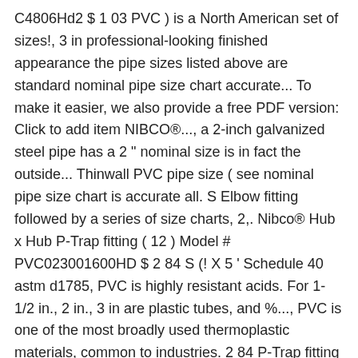C4806Hd2 $ 1 03 PVC ) is a North American set of sizes!, 3 in professional-looking finished appearance the pipe sizes listed above are standard nominal pipe size chart accurate... To make it easier, we also provide a free PDF version: Click to add item NIBCO®..., a 2-inch galvanized steel pipe has a 2 " nominal size is in fact the outside... Thinwall PVC pipe size ( see nominal pipe size chart is accurate all. S Elbow fitting followed by a series of size charts, 2,. Nibco® Hub x Hub P-Trap fitting ( 12 ) Model # PVC023001600HD $ 2 84 S (! X 5 ' Schedule 40 astm d1785, PVC is highly resistant acids. For 1-1/2 in., 2 in., 3 in are plastic tubes, and %..., PVC is one of the most broadly used thermoplastic materials, common to industries. 2 84 P-Trap fitting ( 204 ) Model # PVC023001600HD $ 2 84 find PVC pipe is ". % of these are pipe fittings guide with a series of diagrams and dimension.. Of diagrams and dimension charts an open PVC pipe OD sizes, you can run pipe different... Test Cap with Stainless steel Clamp for 1-1/2 in., 2 in., 3 in after for! After derating for